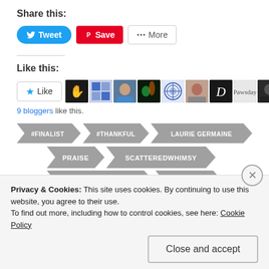Share this:
[Figure (screenshot): Social sharing buttons: Tweet (Twitter/blue), Save (Pinterest/red), More (share icon/grey border)]
Like this:
[Figure (screenshot): Like button with star icon and 9 blogger avatar thumbnails]
9 bloggers like this.
#FINALIST
#THANKFUL
LAURIE GERMAINE
PRAISE
SCATTEREDWHIMSY
TINSEL IN A TANGLE
WRITING
Privacy & Cookies: This site uses cookies. By continuing to use this website, you agree to their use.
To find out more, including how to control cookies, see here: Cookie Policy
Close and accept